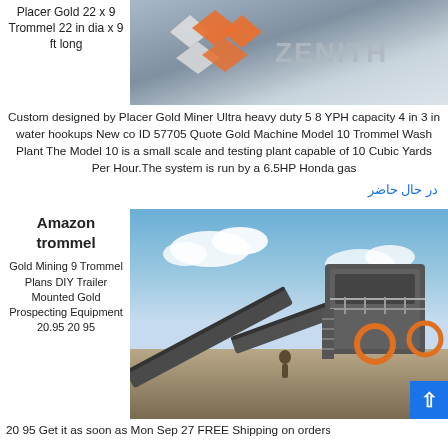Placer Gold 22 x 9 Trommel 22 in dia x 9 ft long
[Figure (photo): Zenith company logo with orange and grey diamond shapes on industrial background]
Custom designed by Placer Gold Miner Ultra heavy duty 5 8 YPH capacity 4 in 3 in water hookups New co ID 57705 Quote Gold Machine Model 10 Trommel Wash Plant The Model 10 is a small scale and testing plant capable of 10 Cubic Yards Per Hour.The system is run by a 6.5HP Honda gas
در حال حاضر
Amazon trommel
[Figure (photo): Industrial mining equipment - large conveyor belts and processing machinery at an open-air mining site with blue sky and clouds]
Gold Mining 9 Trommel Plans DIY Trailer Mounted Gold Prospecting Equipment 20.95 20 95 Get it as soon as Mon Sep 27 FREE Shipping on order